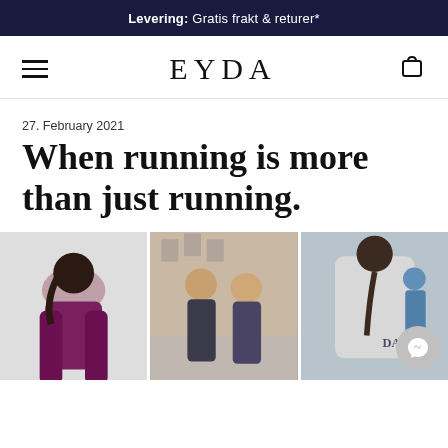Levering: Gratis frakt & returer*
EYDA
27. February 2021
When running is more than just running.
[Figure (photo): Three side-by-side photos of women in athletic/running gear. Left: woman bending over in a black sports bra and dark purple leggings. Center: two women talking outdoors near a fence. Right: back view of woman in a light grey athletic top with 'DA' branding visible.]